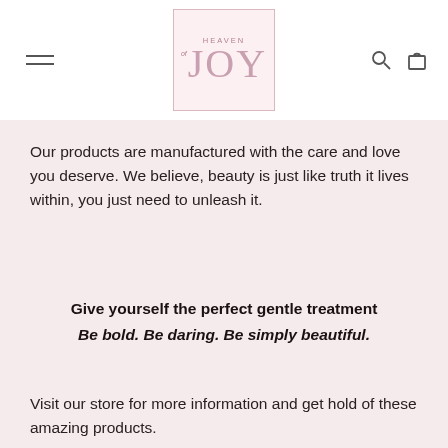[Figure (logo): Heaven of Joy logo in a pink-bordered square with stylized text]
Our products are manufactured with the care and love you deserve. We believe, beauty is just like truth it lives within, you just need to unleash it.
Give yourself the perfect gentle treatment
Be bold. Be daring. Be simply beautiful.
Visit our store for more information and get hold of these amazing products.